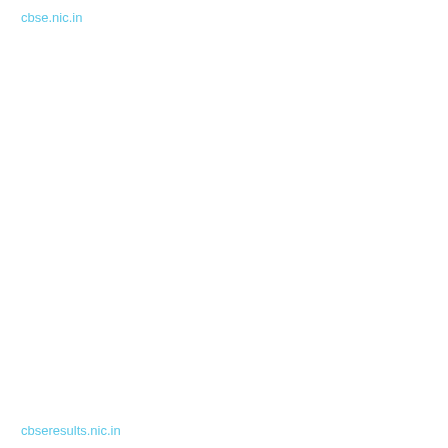cbse.nic.in
cbseresults.nic.in